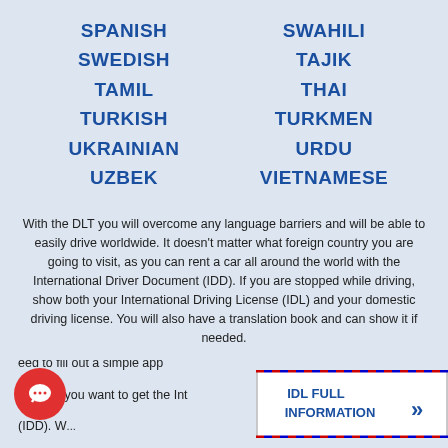SPANISH, SWEDISH, TAMIL, TURKISH, UKRAINIAN, UZBEK, SWAHILI, TAJIK, THAI, TURKMEN, URDU, VIETNAMESE
With the DLT you will overcome any language barriers and will be able to easily drive worldwide. It doesn't matter what foreign country you are going to visit, as you can rent a car all around the world with the International Driver Document (IDD). If you are stopped while driving, show both your International Driving License (IDL) and your domestic driving license. You will also have a translation book and can show it if needed.
need to fill out a simple app online if you want to get the Int (IDD). We...
[Figure (infographic): Envelope card with text IDL FULL INFORMATION and chevron arrows, alongside a red chat bubble icon]